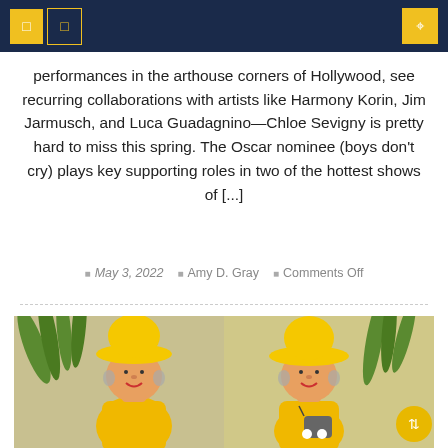Navigation bar with icons
performances in the arthouse corners of Hollywood, see recurring collaborations with artists like Harmony Korin, Jim Jarmusch, and Luca Guadagnino—Chloe Sevigny is pretty hard to miss this spring. The Oscar nominee (boys don't cry) plays key supporting roles in two of the hottest shows of [...]
May 3, 2022   Amy D. Gray   Comments Off
[Figure (photo): Two knitted dolls wearing yellow bucket hats and yellow outfits, photographed with yellow flowers in the background. The right doll holds a small gray purse with white pom-poms.]